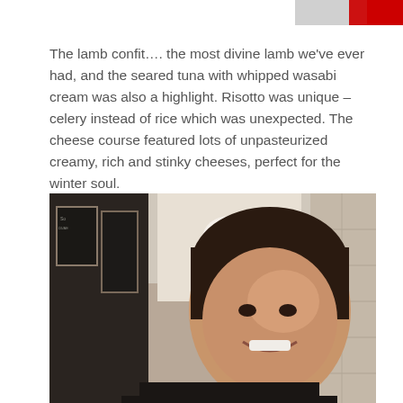[Figure (photo): Partial image strip visible at top right corner of the page, appears to be a red/colorful partial photo cropped at the top edge]
The lamb confit…. the most divine lamb we've ever had, and the seared tuna with whipped wasabi cream was also a highlight. Risotto was unique – celery instead of rice which was unexpected. The cheese course featured lots of unpasteurized creamy, rich and stinky cheeses, perfect for the winter soul.
[Figure (photo): A smiling woman with dark hair wearing a black top, photographed in what appears to be a restaurant interior with chalkboard menus on the wall and stone wall visible in the background.]